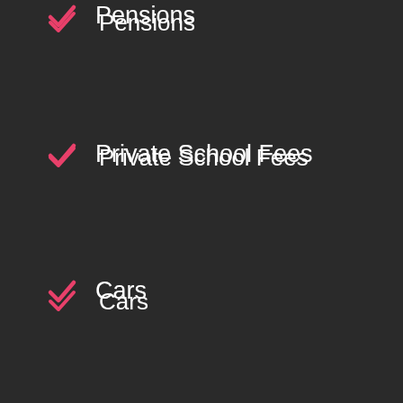Pensions
Private School Fees
Cars
Houses
Disclosure Process
Financial Agreement
Consent Order Process